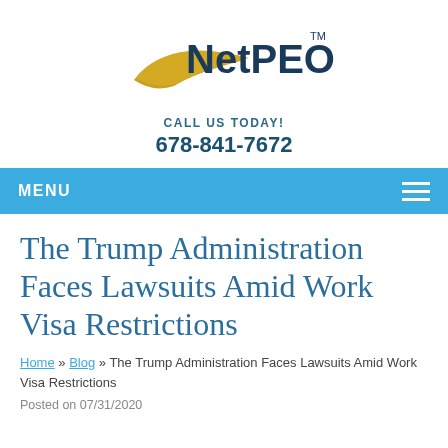[Figure (logo): NetPEO logo with gold swoosh and dark blue text, TM superscript]
CALL US TODAY!
678-841-7672
MENU
The Trump Administration Faces Lawsuits Amid Work Visa Restrictions
Home » Blog » The Trump Administration Faces Lawsuits Amid Work Visa Restrictions
Posted on 07/31/2020